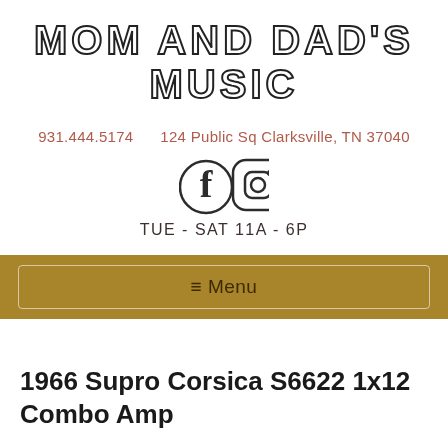MOM AND DAD'S MUSIC
931.444.5174     124 Public Sq Clarksville, TN 37040
[Figure (illustration): Facebook and Instagram social media icons side by side]
TUE - SAT 11A - 6P
≡ Menu
1966 Supro Corsica S6622 1x12 Combo Amp